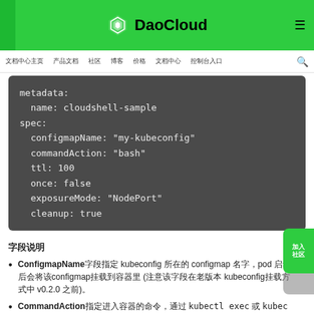DaoCloud
导航菜单 产品文档 社区 博客 价格 文档中心 控制台入口
[Figure (screenshot): YAML code block showing cloudshell-sample spec with configmapName, commandAction, ttl, once, exposureMode, cleanup fields on dark background]
字段说明
ConfigmapName字段指定 kubeconfig 所在的 configmap 名字，pod 启动后会将该configmap挂载到容器里 (注意该字段在老版本 kubeconfig挂载方式中 v0.2.0 之前)。
CommandAction指定进入容器的命令，通过 kubectl exec 或 kubectl logs 命令进入容器。